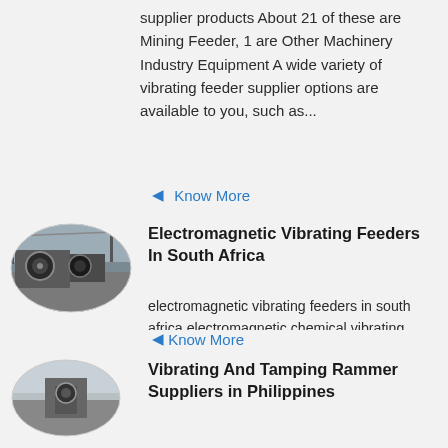supplier products About 21 of these are Mining Feeder, 1 are Other Machinery Industry Equipment A wide variety of vibrating feeder supplier options are available to you, such as...
Know More
[Figure (photo): Oval thumbnail photo of industrial machinery / electromagnetic vibrating feeder equipment outdoors]
Electromagnetic Vibrating Feeders In South Africa
electromagnetic vibrating feeders in south africa electromagnetic chemical vibrating feeder - alibaba Alibaba offers 392 electromagnetic chemical vibrating feeder products About 85 of these are mining feeder, 1 are material handling equipment parts, and 1 are other machinery industry equipment ....
Know More
[Figure (photo): Oval thumbnail photo of vibrating/tamping rammer equipment]
Vibrating And Tamping Rammer Suppliers in Philippines